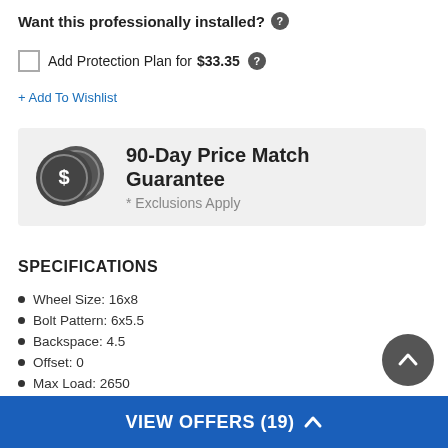Want this professionally installed? ?
Add Protection Plan for $33.35 ?
+ Add To Wishlist
[Figure (infographic): 90-Day Price Match Guarantee banner with two overlapping dollar coin icons. Text reads: 90-Day Price Match Guarantee, * Exclusions Apply]
SPECIFICATIONS
Wheel Size: 16x8
Bolt Pattern: 6x5.5
Backspace: 4.5
Offset: 0
Max Load: 2650
Center Bore: 106.25
VIEW OFFERS (19) ^